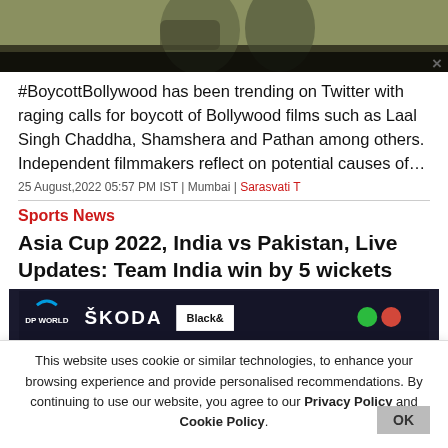[Figure (photo): Top portion of a photo showing people, partially cropped, with dark/olive tones]
#BoycottBollywood has been trending on Twitter with raging calls for boycott of Bollywood films such as Laal Singh Chaddha, Shamshera and Pathan among others. Independent filmmakers reflect on potential causes of…
25 August,2022 05:57 PM IST | Mumbai | Sarasvati T
Sports News
Asia Cup 2022, India vs Pakistan, Live Updates: Team India win by 5 wickets
[Figure (photo): Cricket match banner image showing sponsor logos: DP World, ŠKODA, Black& (partially visible), and colored dots]
This website uses cookie or similar technologies, to enhance your browsing experience and provide personalised recommendations. By continuing to use our website, you agree to our Privacy Policy and Cookie Policy.